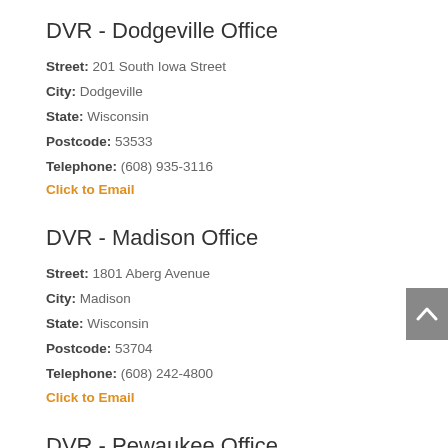DVR - Dodgeville Office
Street: 201 South Iowa Street
City: Dodgeville
State: Wisconsin
Postcode: 53533
Telephone: (608) 935-3116
Click to Email
DVR - Madison Office
Street: 1801 Aberg Avenue
City: Madison
State: Wisconsin
Postcode: 53704
Telephone: (608) 242-4800
Click to Email
DVR - Pewaukee Office